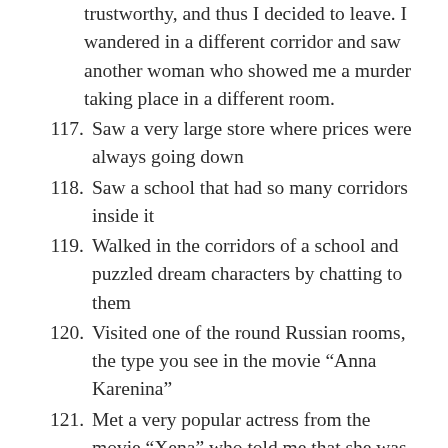trustworthy, and thus I decided to leave. I wandered in a different corridor and saw another woman who showed me a murder taking place in a different room.
117. Saw a very large store where prices were always going down
118. Saw a school that had so many corridors inside it
119. Walked in the corridors of a school and puzzled dream characters by chatting to them
120. Visited one of the round Russian rooms, the type you see in the movie “Anna Karenina”
121. Met a very popular actress from the movie “Xena” who told me that she was a women abuse advocate
122. Held a male child whose hair were too wavy